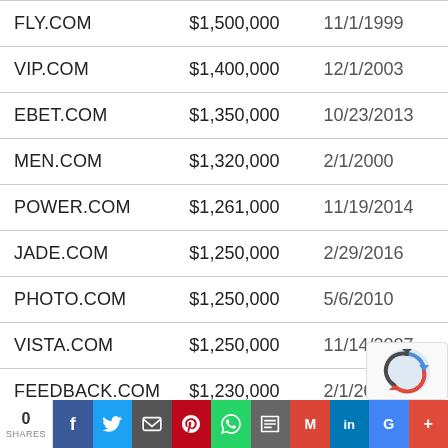| FLY.COM | $1,500,000 | 11/1/1999 |
| VIP.COM | $1,400,000 | 12/1/2003 |
| EBET.COM | $1,350,000 | 10/23/2013 |
| MEN.COM | $1,320,000 | 2/1/2000 |
| POWER.COM | $1,261,000 | 11/19/2014 |
| JADE.COM | $1,250,000 | 2/29/2016 |
| PHOTO.COM | $1,250,000 | 5/6/2010 |
| VISTA.COM | $1,250,000 | 11/14/2007 |
| FEEDBACK.COM | $1,230,000 | 2/1/200… |